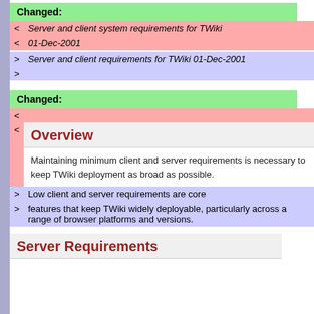Changed:
< Server and client system requirements for TWiki
< 01-Dec-2001
> Server and client requirements for TWiki 01-Dec-2001
Changed:
<
<  Overview — Maintaining minimum client and server requirements is necessary to keep TWiki deployment as broad as possible.
> Low client and server requirements are core features that keep TWiki widely deployable, particularly across a range of browser platforms and versions.
Server Requirements